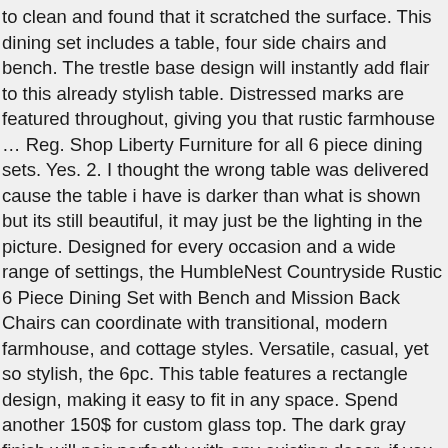to clean and found that it scratched the surface. This dining set includes a table, four side chairs and bench. The trestle base design will instantly add flair to this already stylish table. Distressed marks are featured throughout, giving you that rustic farmhouse … Reg. Shop Liberty Furniture for all 6 piece dining sets. Yes. 2. I thought the wrong table was delivered cause the table i have is darker than what is shown but its still beautiful, it may just be the lighting in the picture. Designed for every occasion and a wide range of settings, the HumbleNest Countryside Rustic 6 Piece Dining Set with Bench and Mission Back Chairs can coordinate with transitional, modern farmhouse, and cottage styles. Versatile, casual, yet so stylish, the 6pc. This table features a rectangle design, making it easy to fit in any space. Spend another 150$ for custom glass top. The dark gray finish will pair perfectly with any existing decor. if you think and so, I'm demonstrate a number of photograph once again underneath: Thanks for visiting my blog, article above(6 Piece Farmhouse Dining Set). Tags 6 piece farmhouse dining set 6 piece farmhouse dining set